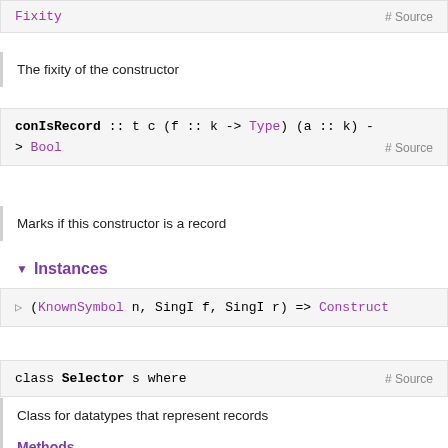Fixity    # Source
The fixity of the constructor
conIsRecord :: t c (f :: k -> Type) (a :: k) -> Bool    # Source
Marks if this constructor is a record
▼ Instances
(KnownSymbol n, SingI f, SingI r) => Construct
class Selector s where    # Source
Class for datatypes that represent records
Methods